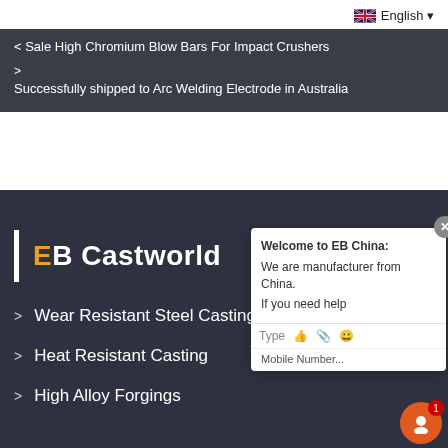English ▾
< Sale High Chromium Blow Bars For Impact Crushers
>
Successfully shipped to Arc Welding Electrode in Australia
EB Castworld
> Wear Resistant Steel Castings
> Heat Resistant Casting
> High Alloy Forgings
Welcome to EB China:
We are manufacturer from China.
If you need help
Type
Mobile Number...